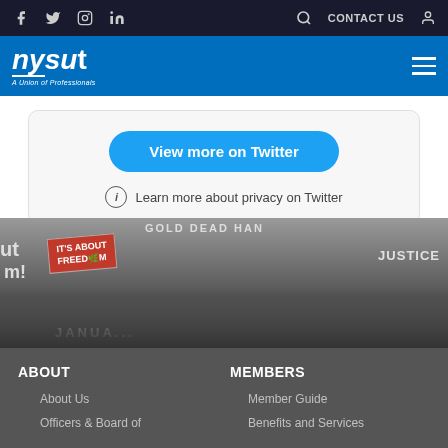NYSUT website header with social icons (Facebook, Twitter, Instagram, LinkedIn), search, CONTACT US, user icon, NYSUT logo, hamburger menu
[Figure (screenshot): Twitter embedded widget showing a 'View more on Twitter' button and 'Learn more about privacy on Twitter' text with info icon]
[Figure (photo): Black and white photograph of a protest crowd holding signs including 'IT'S ABOUT FREEDOM', 'COLD DEAD HANDS', 'JUSTICE']
ABOUT
About Us
Officers & Board of
MEMBERS
Member Guide
Benefits and Services